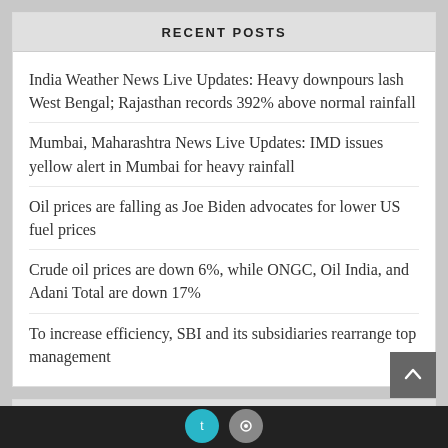RECENT POSTS
India Weather News Live Updates: Heavy downpours lash West Bengal; Rajasthan records 392% above normal rainfall
Mumbai, Maharashtra News Live Updates: IMD issues yellow alert in Mumbai for heavy rainfall
Oil prices are falling as Joe Biden advocates for lower US fuel prices
Crude oil prices are down 6%, while ONGC, Oil India, and Adani Total are down 17%
To increase efficiency, SBI and its subsidiaries rearrange top management
RECENT COMMENTS